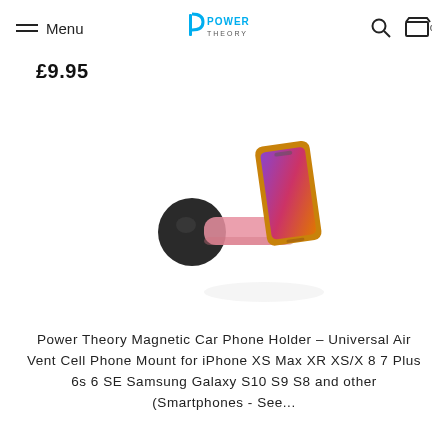Menu | Power Theory | Search | Cart 0
£9.95
[Figure (photo): Magnetic car phone holder product photo showing a phone mounted on a magnetic air vent mount with a pink arm, against a white background]
Power Theory Magnetic Car Phone Holder - Universal Air Vent Cell Phone Mount for iPhone XS Max XR XS/X 8 7 Plus 6s 6 SE Samsung Galaxy S10 S9 S8 and other (Smartphones - See...